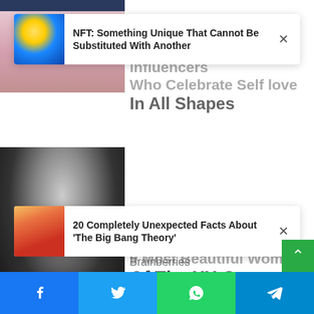[Figure (screenshot): Top dark image strip (partial photo cropped at top)]
[Figure (photo): Overlay card 1 thumbnail: game controller with glowing effects on blue background]
NFT: Something Unique That Cannot Be Substituted With Another
[Figure (photo): Background article image: woman body positive]
Body-positive Influencers Who Celebrate Self love In All Shapes
[Figure (photo): Overlay card 2 thumbnail: actress from The Big Bang Theory in red/orange tones]
20 Completely Unexpected Facts About 'The Big Bang Theory'
[Figure (photo): Black and white portrait photo of a woman with dark eyes and hair]
9 Most Beautiful Women Of The XX Century
Brainberries
She was “buzzing” after her morning workout session because it was her first “zero pain” workout after injuring her knee.
“I am absolutely thrilled as I can now start challenging myself again,” she wrote on her Instagram Stories.
Facebook | Twitter | WhatsApp | Telegram share buttons